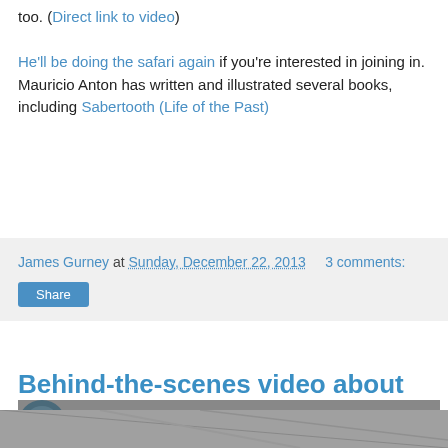too. (Direct link to video)

He'll be doing the safari again if you're interested in joining in.
Mauricio Anton has written and illustrated several books, including Sabertooth (Life of the Past)
James Gurney at Sunday, December 22, 2013   3 comments:
Share
Behind-the-scenes video about the art of bird dioramas
[Figure (screenshot): YouTube video thumbnail showing 'Birding at the Museum: Artists Be...' with a black and white background image of a dinosaur skeleton or museum exhibit]